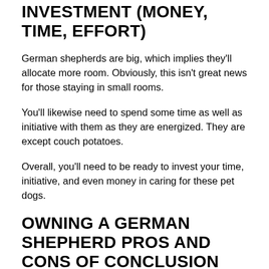INVESTMENT (MONEY, TIME, EFFORT)
German shepherds are big, which implies they'll allocate more room. Obviously, this isn't great news for those staying in small rooms.
You'll likewise need to spend some time as well as initiative with them as they are energized. They are except couch potatoes.
Overall, you'll need to be ready to invest your time, initiative, and even money in caring for these pet dogs.
OWNING A GERMAN SHEPHERD PROS AND CONS OF CONCLUSION
German shepherds are loyal, obedient, appealing,